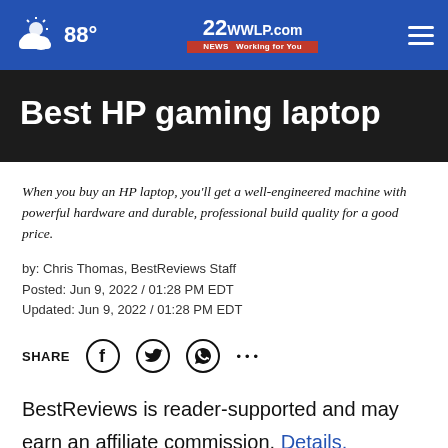88° | 22NEWS WWLP.com Working for You
Best HP gaming laptop
When you buy an HP laptop, you'll get a well-engineered machine with powerful hardware and durable, professional build quality for a good price.
by: Chris Thomas, BestReviews Staff
Posted: Jun 9, 2022 / 01:28 PM EDT
Updated: Jun 9, 2022 / 01:28 PM EDT
SHARE
BestReviews is reader-supported and may earn an affiliate commission. Details.